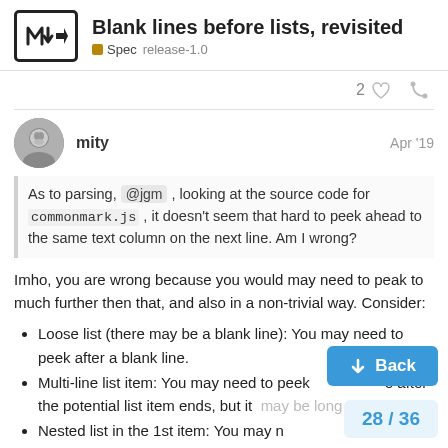Blank lines before lists, revisited — Spec  release-1.0
2
mity  Apr '19
As to parsing, @jgm , looking at the source code for commonmark.js , it doesn't seem that hard to peek ahead to the same text column on the next line. Am I wrong?
Imho, you are wrong because you would may need to peak to much further then that, and also in a non-trivial way. Consider:
Loose list (there may be a blank line): You may need to peek after a blank line.
Multi-line list item: You may need to peek after the potential list item ends, but it may be long
Nested list in the 1st item: You may nested list ends.